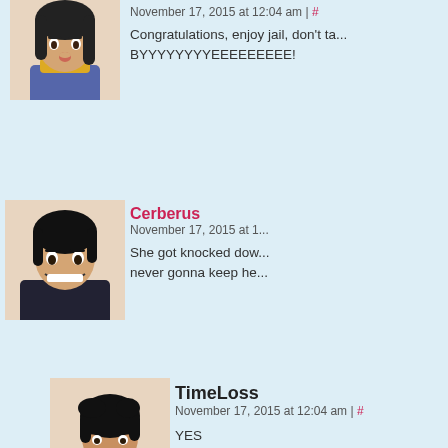November 17, 2015 at 12:04 am | # Congratulations, enjoy jail, don't ta... BYYYYYYYYEEEEEEEEE!
[Figure (illustration): Anime-style avatar of a young woman with dark hair]
Cerberus November 17, 2015 at 1... She got knocked dow... never gonna keep he...
[Figure (illustration): Anime-style avatar of a smiling young man with dark hair]
TimeLoss November 17, 2015 at 12:04 am | # YES
[Figure (illustration): Anime-style avatar of a young woman with short dark hair and purple shirt]
Doctor Doom November 17, 2015 at 12:04 am | # Doom forsees Becky as moving up... list soon. After all, the girl reminds D... self in that she needs no man or w... Also she wishes to master the scie... mastering the mystic arts....
[Figure (illustration): Doctor Doom comic avatar with green hood and metal mask]